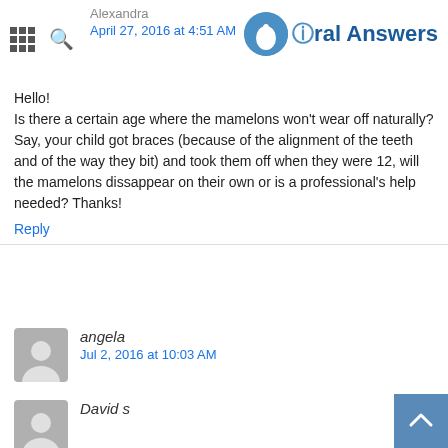Oral Answers
Hello!
Is there a certain age where the mamelons won't wear off naturally? Say, your child got braces (because of the alignment of the teeth and of the way they bit) and took them off when they were 12, will the mamelons dissappear on their own or is a professional's help needed? Thanks!
Reply
angela
Jul 2, 2016 at 10:03 AM
Is it normal for a 13 year old to have bumpy teeth
Reply
David s